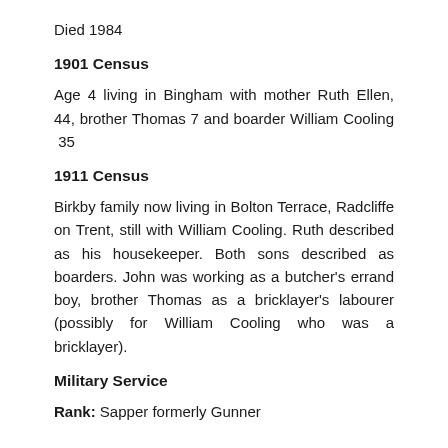Died 1984
1901 Census
Age 4 living in Bingham with mother Ruth Ellen, 44, brother Thomas 7 and boarder William Cooling  35
1911 Census
Birkby family now living in Bolton Terrace, Radcliffe on Trent, still with William Cooling. Ruth described as his housekeeper. Both sons described as boarders. John was working as a butcher's errand boy, brother Thomas as a bricklayer's labourer (possibly for William Cooling who was a bricklayer).
Military Service
Rank: Sapper formerly Gunner